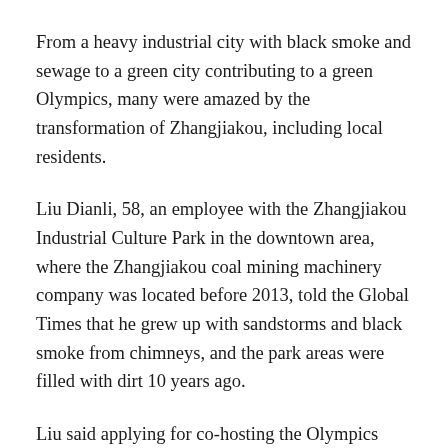From a heavy industrial city with black smoke and sewage to a green city contributing to a green Olympics, many were amazed by the transformation of Zhangjiakou, including local residents.
Liu Dianli, 58, an employee with the Zhangjiakou Industrial Culture Park in the downtown area, where the Zhangjiakou coal mining machinery company was located before 2013, told the Global Times that he grew up with sandstorms and black smoke from chimneys, and the park areas were filled with dirt 10 years ago.
Liu said applying for co-hosting the Olympics provided Zhangjiakou with a chance to transform, and the city has relocated the coal factories to an industrial park.